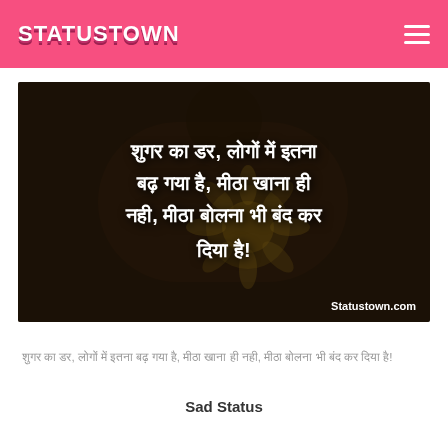STATUSTOWN
[Figure (photo): Dark background image with sunflower, overlaid with Hindi text quote about sugar/sweetness fear. Watermark: Statustown.com]
शुगर का डर, लोगों में इतना बढ़ गया है, मीठा खाना ही नही, मीठा बोलना भी बंद कर दिया है!
Sad Status